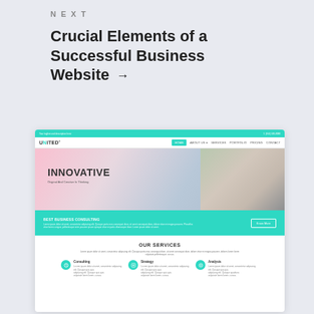NEXT
Crucial Elements of a Successful Business Website →
[Figure (screenshot): Screenshot of a business website template called 'United' featuring a teal navigation bar, hero section with the word INNOVATIVE, a teal call-to-action band for Best Business Consulting, and a white services section showing Consulting, Strategy, and Analysis columns.]